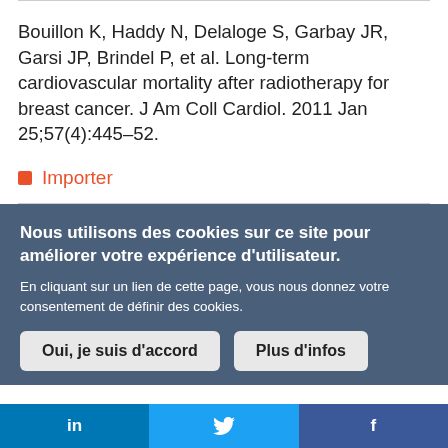Bouillon K, Haddy N, Delaloge S, Garbay JR, Garsi JP, Brindel P, et al. Long-term cardiovascular mortality after radiotherapy for breast cancer. J Am Coll Cardiol. 2011 Jan 25;57(4):445–52.
Importer
Nous utilisons des cookies sur ce site pour améliorer votre expérience d'utilisateur. En cliquant sur un lien de cette page, vous nous donnez votre consentement de définir des cookies.
Oui, je suis d'accord | Plus d'infos
in   🐦   f